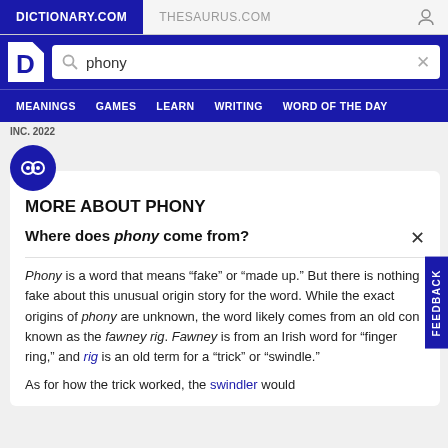DICTIONARY.COM | THESAURUS.COM
[Figure (screenshot): Dictionary.com logo and search bar with 'phony' typed in]
MEANINGS  GAMES  LEARN  WRITING  WORD OF THE DAY
INC. 2022
MORE ABOUT PHONY
Where does phony come from?
Phony is a word that means “fake” or “made up.” But there is nothing fake about this unusual origin story for the word. While the exact origins of phony are unknown, the word likely comes from an old con known as the fawney rig. Fawney is from an Irish word for “finger ring,” and rig is an old term for a “trick” or “swindle.”
As for how the trick worked, the swindler would